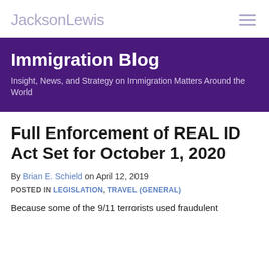JacksonLewis
Immigration Blog
Insight, News, and Strategy on Immigration Matters Around the World
Full Enforcement of REAL ID Act Set for October 1, 2020
By Brian E. Schield on April 12, 2019
POSTED IN LEGISLATION, TRAVEL (GENERAL)
Because some of the 9/11 terrorists used fraudulent